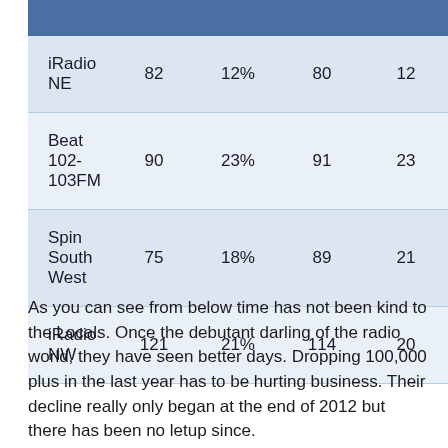|  |  |  |  |  |
| --- | --- | --- | --- | --- |
| iRadio NE | 82 | 12% | 80 | 12 |
| Beat 102-103FM | 90 | 23% | 91 | 23 |
| Spin South West | 75 | 18% | 89 | 21 |
| iRadio NW | 121 | 21% | 114 | 20 |
As you can see from below time has not been kind to the Locals. Once the debutant darling of the radio world, they have seen better days. Dropping 100,000 plus in the last year has to be hurting business. Their decline really only began at the end of 2012 but there has been no letup since.